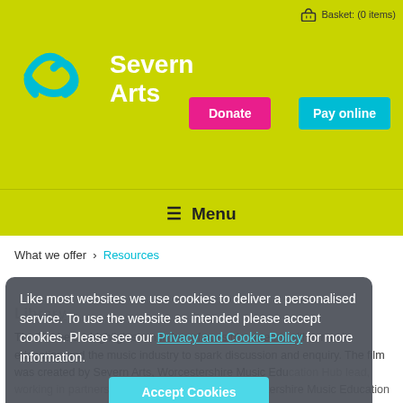Basket: (0 items)
[Figure (logo): Severn Arts logo with cyan swirl and white text on lime green background]
Donate
Pay online
≡ Menu
What we offer > Resources
Like most websites we use cookies to deliver a personalised service. To use the website as intended please accept cookies. Please see our Privacy and Cookie Policy for more information.
Accept Cookies
The film below highlights a number of possible careers within music education and the music industry to spark discussion and enquiry. The film was created by Severn Arts, Worcestershire Music Education Hub lead, working in partnership with Buckinghamshire and Gloucestershire Music Education Hubs as part of Fair Play, a Youth Music funded project.